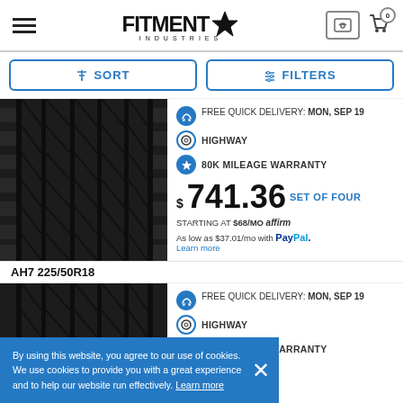[Figure (screenshot): Fitment Industries website header with hamburger menu, logo, image icon, and cart icon showing 0 items]
[Figure (screenshot): Sort and Filters button bar with blue outlined buttons]
[Figure (photo): Close-up photo of a black tire tread pattern]
FREE QUICK DELIVERY: MON, SEP 19
HIGHWAY
80K MILEAGE WARRANTY
$741.36 SET OF FOUR
STARTING AT $68/MO affirm
As low as $37.01/mo with PayPal. Learn more
By using this website, you agree to our use of cookies. We use cookies to provide you with a great experience and to help our website run effectively. Learn more
AH7 225/50R18
[Figure (photo): Close-up photo of a black tire tread pattern for second product]
FREE QUICK DELIVERY: MON, SEP 19
HIGHWAY
80K MILEAGE WARRANTY